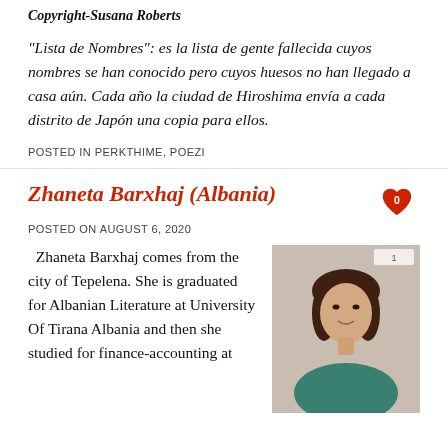Copyright-Susana Roberts
“Lista de Nombres”: es la lista de gente fallecida cuyos nombres se han conocido pero cuyos huesos no han llegado a casa aún. Cada año la ciudad de Hiroshima envía a cada distrito de Japón una copia para ellos.
POSTED IN PERKTHIME, POEZI
Zhaneta Barxhaj (Albania)
POSTED ON AUGUST 6, 2020
[Figure (photo): Portrait photo of Zhaneta Barxhaj, a woman smiling, wearing a teal/green top, with dark hair.]
Zhaneta Barxhaj comes from the city of Tepelena. She is graduated for Albanian Literature at University Of Tirana Albania and then she studied for finance-accounting at